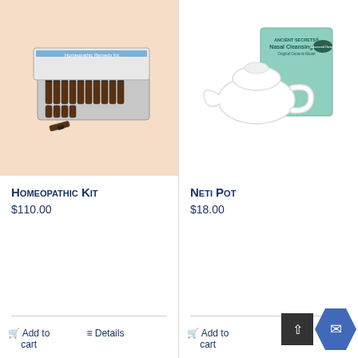[Figure (photo): Homeopathic kit with small amber vials arranged in a plastic tray with a box]
Homeopathic Kit
$110.00
Add to cart
Details
[Figure (photo): Ancient Secrets Nasal Cleansing Pot (Neti Pot) - white ceramic pot with its box]
Neti Pot
$18.00
Add to cart